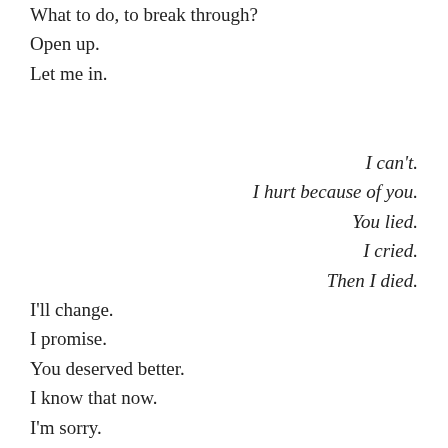What to do, to break through?
Open up.
Let me in.
I can't.
I hurt because of you.
You lied.
I cried.
Then I died.
I'll change.
I promise.
You deserved better.
I know that now.
I'm sorry.
Please forgive me.